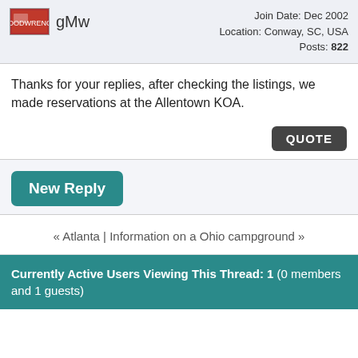gMw — Join Date: Dec 2002 Location: Conway, SC, USA Posts: 822
Thanks for your replies, after checking the listings, we made reservations at the Allentown KOA.
QUOTE
New Reply
« Atlanta | Information on a Ohio campground »
Currently Active Users Viewing This Thread: 1 (0 members and 1 guests)
RV LIFE Featured Articles